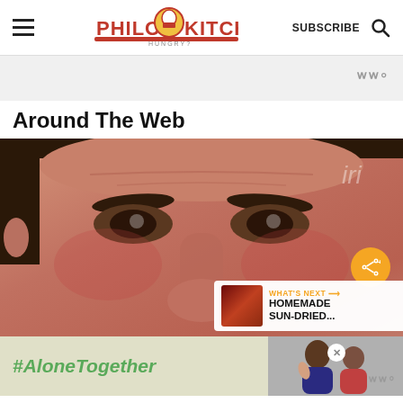Philos Kitchen — SUBSCRIBE
Around The Web
[Figure (photo): Close-up photo of a man's face, middle-aged, dark hair, reddish complexion, with a share button overlay and a 'What's Next: HOMEMADE SUN-DRIED...' overlay in the bottom right]
[Figure (infographic): Advertisement bar at bottom: dark background on left with '#AloneTogether' text in green italic on light background, photo of two people on right, with close X button and WW° logo]